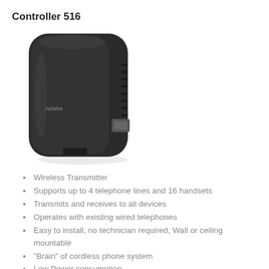Controller 516
[Figure (photo): Photo of Controller 516 wireless transmitter device — a black, rounded rectangular unit with ventilation slots on the right side and a label/logo on the front face, shown at an angle.]
Wireless Transmitter
Supports up to 4 telephone lines and 16 handsets
Transmits and receives to all devices
Operates with existing wired telephones
Easy to install, no technician required, Wall or ceiling mountable
"Brain" of cordless phone system
Low Power consumption